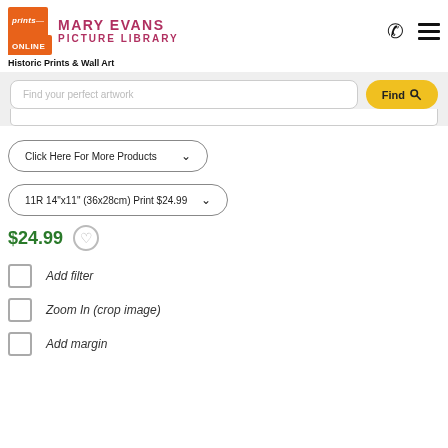[Figure (logo): Prints Online logo with orange box and Mary Evans Picture Library name in pink/mauve]
Historic Prints & Wall Art
[Figure (screenshot): Search bar with placeholder 'Find your perfect artwork' and yellow Find button with magnifying glass icon]
Click Here For More Products
11R 14"x11" (36x28cm) Print $24.99
$24.99
Add filter
Zoom In (crop image)
Add margin